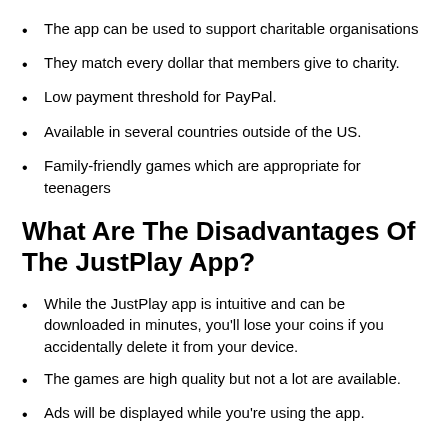The app can be used to support charitable organisations
They match every dollar that members give to charity.
Low payment threshold for PayPal.
Available in several countries outside of the US.
Family-friendly games which are appropriate for teenagers
What Are The Disadvantages Of The JustPlay App?
While the JustPlay app is intuitive and can be downloaded in minutes, you’ll lose your coins if you accidentally delete it from your device.
The games are high quality but not a lot are available.
Ads will be displayed while you’re using the app.